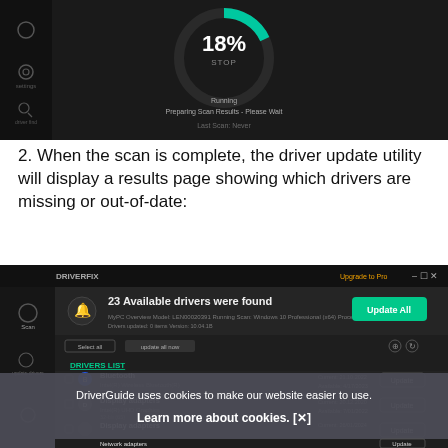[Figure (screenshot): Dark-themed driver utility application showing a circular progress indicator at 18% with STOP button, and text 'Running / Preparing Scan Results - Please Wait / Last Scan: Never']
2. When the scan is complete, the driver update utility will display a results page showing which drivers are missing or out-of-date:
[Figure (screenshot): DriverFix application results screen showing '23 Available drivers were found' with an Update All button, and a DRIVERS LIST showing Bluetooth, Display adapters entries with Current and Available version dates and Update buttons, and a cookie consent banner overlay reading 'DriverGuide uses cookies to make our website easier to use. Learn more about cookies. [X]']